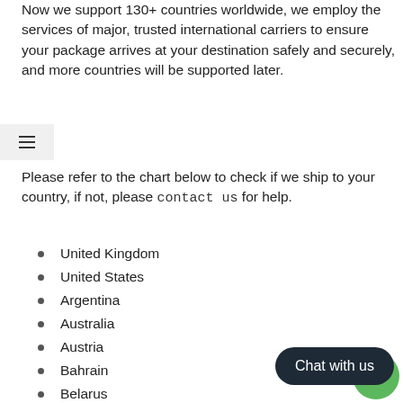Now we support 130+ countries worldwide, we employ the services of major, trusted international carriers to ensure your package arrives at your destination safely and securely, and more countries will be supported later.
Please refer to the chart below to check if we ship to your country, if not, please contact us for help.
United Kingdom
United States
Argentina
Australia
Austria
Bahrain
Belarus
Belgium
Brazil
Brunei Darussalam
Canada
Cape Verde